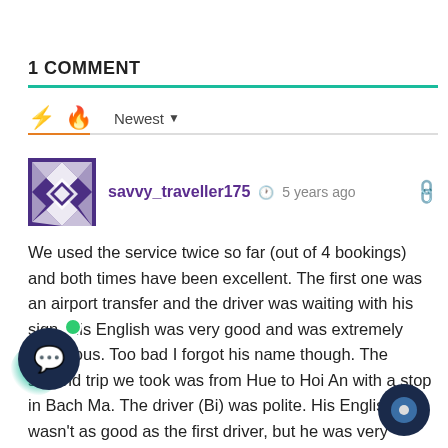1 COMMENT
savvy_traveller175   5 years ago
We used the service twice so far (out of 4 bookings) and both times have been excellent. The first one was an airport transfer and the driver was waiting with his sign. His English was very good and was extremely courteous. Too bad I forgot his name though. The second trip we took was from Hue to Hoi An with a stop in Bach Ma. The driver (Bi) was polite. His English wasn't as good as the first driver, but he was very service oriented and a… For example, I put on my jacket while the windows were down.... Read more »